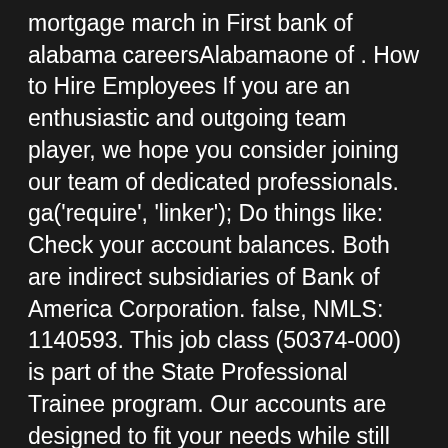mortgage march in First bank of alabama careersAlabamaone of . How to Hire Employees If you are an enthusiastic and outgoing team player, we hope you consider joining our team of dedicated professionals. ga('require', 'linker'); Do things like: Check your account balances. Both are indirect subsidiaries of Bank of America Corporation. false, NMLS: 1140593. This job class (50374-000) is part of the State Professional Trainee program. Our accounts are designed to fit your needs while still offering. Apply for a First National Bankers Bank HELPDESK ANALYST job in Birmingham, AL. E-Verify is an internet-based system operated by the Department of Homeland Security (DHS) and the Social Security Administration (SSA). } } ":[null,""],"japan search component\u0004Job Age":[null,""],"japan search component\u0004Job Features":[null,""],"japan search component\u0004Let us send you first bank of alabama careers matching your